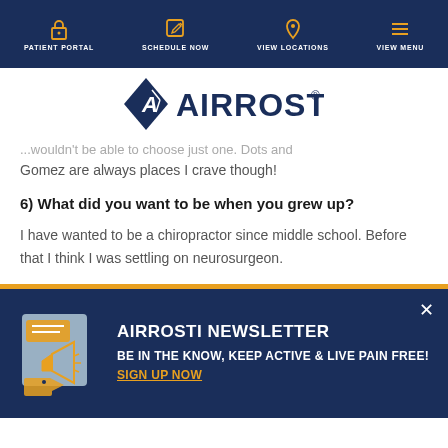PATIENT PORTAL | SCHEDULE NOW | VIEW LOCATIONS | VIEW MENU
[Figure (logo): Airrosti logo with blue diamond and running figure]
...wouldn't be able to choose just one. Dots and Gomez are always places I crave though!
6) What did you want to be when you grew up?
I have wanted to be a chiropractor since middle school. Before that I think I was settling on neurosurgeon.
[Figure (infographic): Airrosti Newsletter banner with megaphone/video icons on blue background]
AIRROSTI NEWSLETTER
BE IN THE KNOW, KEEP ACTIVE & LIVE PAIN FREE! SIGN UP NOW